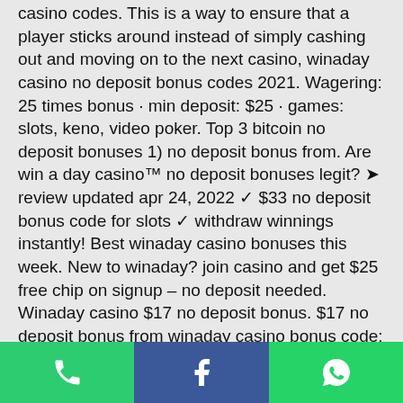casino codes. This is a way to ensure that a player sticks around instead of simply cashing out and moving on to the next casino, winaday casino no deposit bonus codes 2021. Wagering: 25 times bonus · min deposit: $25 · games: slots, keno, video poker. Top 3 bitcoin no deposit bonuses 1) no deposit bonus from. Are win a day casino™ no deposit bonuses legit? ➤ review updated apr 24, 2022 ✓ $33 no deposit bonus code for slots ✓ withdraw winnings instantly! Best winaday casino bonuses this week. New to winaday? join casino and get $25 free chip on signup – no deposit needed. Winaday casino $17 no deposit bonus. $17 no deposit bonus from winaday casino bonus code: lcbfnc wager: 25xb max cashout: $100 games allowed:. Bonus code available for new and existing players.
[Figure (infographic): Bottom action bar with three icons: phone (green), Facebook (blue), WhatsApp (green)]